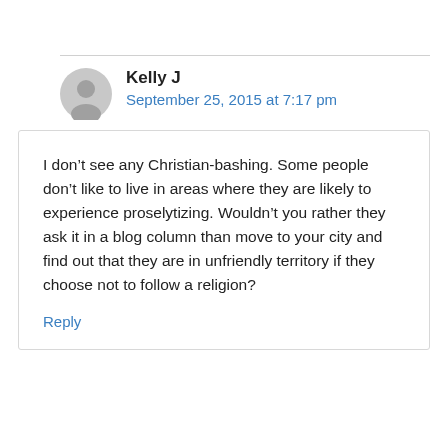Kelly J
September 25, 2015 at 7:17 pm
I don’t see any Christian-bashing. Some people don’t like to live in areas where they are likely to experience proselytizing. Wouldn’t you rather they ask it in a blog column than move to your city and find out that they are in unfriendly territory if they choose not to follow a religion?
Reply